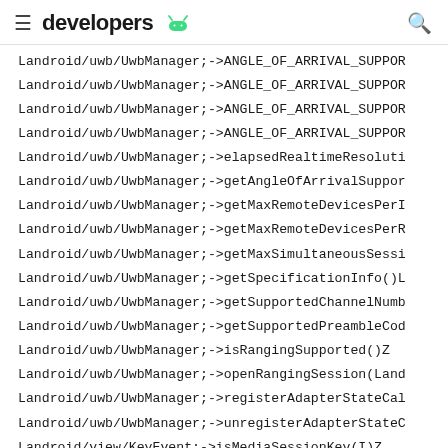developers [android logo]
Landroid/uwb/UwbManager;->ANGLE_OF_ARRIVAL_SUPPOR
Landroid/uwb/UwbManager;->ANGLE_OF_ARRIVAL_SUPPOR
Landroid/uwb/UwbManager;->ANGLE_OF_ARRIVAL_SUPPOR
Landroid/uwb/UwbManager;->ANGLE_OF_ARRIVAL_SUPPOR
Landroid/uwb/UwbManager;->elapsedRealtimeResoluti
Landroid/uwb/UwbManager;->getAngleOfArrivalSuppor
Landroid/uwb/UwbManager;->getMaxRemoteDevicesPerI
Landroid/uwb/UwbManager;->getMaxRemoteDevicesPerR
Landroid/uwb/UwbManager;->getMaxSimultaneousSessi
Landroid/uwb/UwbManager;->getSpecificationInfo()L
Landroid/uwb/UwbManager;->getSupportedChannelNumb
Landroid/uwb/UwbManager;->getSupportedPreambleCod
Landroid/uwb/UwbManager;->isRangingSupported()Z
Landroid/uwb/UwbManager;->openRangingSession(Land
Landroid/uwb/UwbManager;->registerAdapterStateCal
Landroid/uwb/UwbManager;->unregisterAdapterStateC
Landroid/view/KeyEvent;->isMediaSessionKey(I)Z
Landroid/view/ScrollCaptureCallback;->onScrollCap
Landroid/view/ScrollCaptureSession;->getPositionI
Landroid/view/ScrollCaptureSession;->getScrollBou